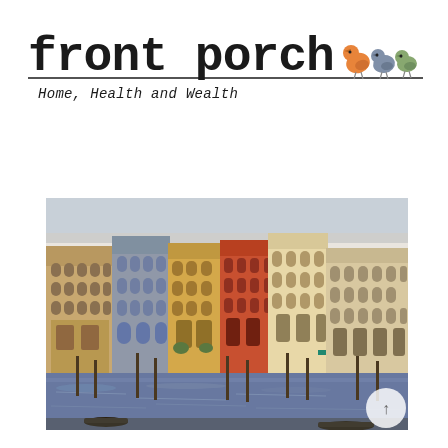[Figure (logo): Front Porch logo with text 'front porch' in bold monospace font, three birds (orange, gray-blue, green) on a wire, horizontal rule, and subtitle 'Home, Health and Wealth']
[Figure (photo): Photograph of Venice, Italy showing colorful historic buildings (ochre, orange-red, blue-gray) along the Grand Canal with gondolas and boats on the water, taken from an elevated viewpoint]